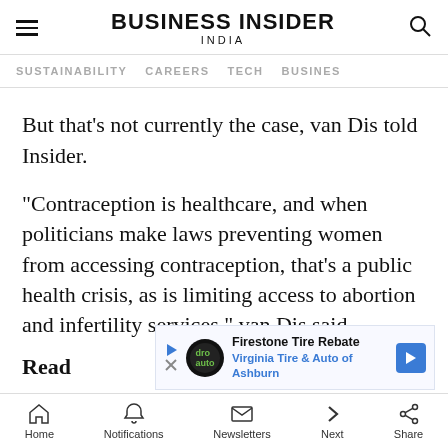BUSINESS INSIDER INDIA
SUSTAINABILITY   CAREERS   TECH   BUSINESS
But that's not currently the case, van Dis told Insider.
"Contraception is healthcare, and when politicians make laws preventing women from accessing contraception, that's a public health crisis, as is limiting access to abortion and infertility services," van Dis said.
[Figure (other): Advertisement banner: Firestone Tire Rebate - Virginia Tire & Auto of Ashburn]
Read
Home   Notifications   Newsletters   Next   Share